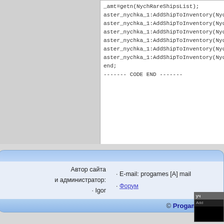[Figure (screenshot): Partial view of a code editor/web page showing Lua/scripting code with lines starting with _amt=getn(NychRareShipsList); and multiple aster_nychka_1:AddShipToInventory(NychRareShips... lines, followed by end; and ------ CODE END ------]
Автор сайта и администратор: · Igor · E-mail: progames [A] mail · Форум © Progames.RU